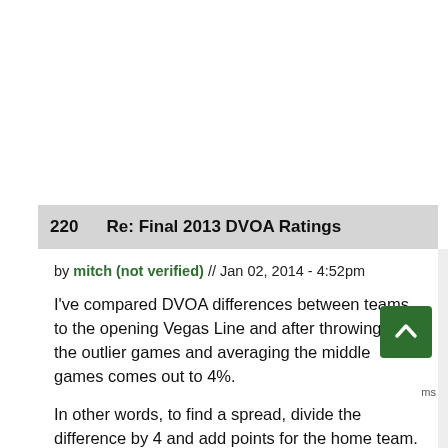220   Re: Final 2013 DVOA Ratings
by mitch (not verified) // Jan 02, 2014 - 4:52pm
I've compared DVOA differences between teams to the opening Vegas Line and after throwing out the outlier games and averaging the middle games comes out to 4%.
In other words, to find a spread, divide the difference by 4 and add points for the home team.
Remember, the outlier games are ones where DVOA may be more accurate then the line.